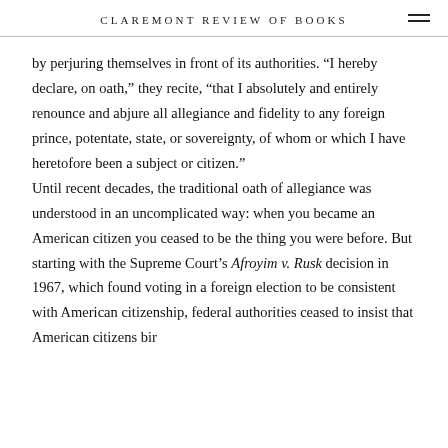CLAREMONT REVIEW OF BOOKS
by perjuring themselves in front of its authorities. “I hereby declare, on oath,” they recite, “that I absolutely and entirely renounce and abjure all allegiance and fidelity to any foreign prince, potentate, state, or sovereignty, of whom or which I have heretofore been a subject or citizen.”
Until recent decades, the traditional oath of allegiance was understood in an uncomplicated way: when you became an American citizen you ceased to be the thing you were before. But starting with the Supreme Court’s Afroyim v. Rusk decision in 1967, which found voting in a foreign election to be consistent with American citizenship, federal authorities ceased to insist that American citizensbirther or their citizens. American...